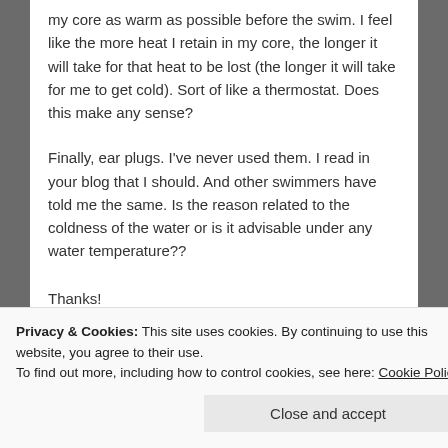my core as warm as possible before the swim. I feel like the more heat I retain in my core, the longer it will take for that heat to be lost (the longer it will take for me to get cold). Sort of like a thermostat. Does this make any sense?
Finally, ear plugs. I've never used them. I read in your blog that I should. And other swimmers have told me the same. Is the reason related to the coldness of the water or is it advisable under any water temperature??
Thanks!
Like
Privacy & Cookies: This site uses cookies. By continuing to use this website, you agree to their use.
To find out more, including how to control cookies, see here: Cookie Policy
Close and accept